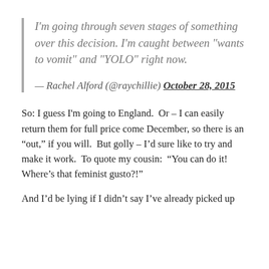I'm going through seven stages of something over this decision. I'm caught between "wants to vomit" and "YOLO" right now.
— Rachel Alford (@raychillie) October 28, 2015
So: I guess I'm going to England.  Or – I can easily return them for full price come December, so there is an “out,” if you will.  But golly – I’d sure like to try and make it work.  To quote my cousin:  “You can do it!  Where’s that feminist gusto?!”
And I’d be lying if I didn’t say I’ve already picked up